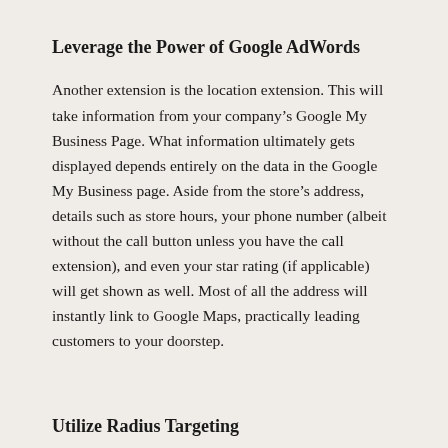Leverage the Power of Google AdWords
Another extension is the location extension. This will take information from your company’s Google My Business Page. What information ultimately gets displayed depends entirely on the data in the Google My Business page. Aside from the store’s address, details such as store hours, your phone number (albeit without the call button unless you have the call extension), and even your star rating (if applicable) will get shown as well. Most of all the address will instantly link to Google Maps, practically leading customers to your doorstep.
Utilize Radius Targeting